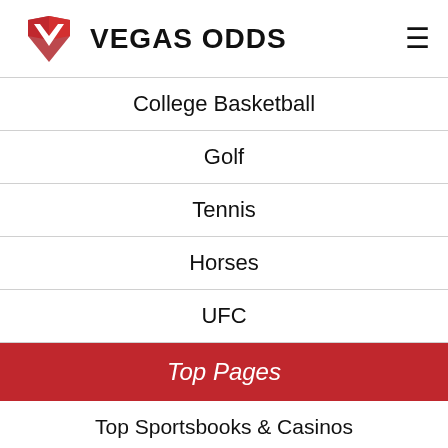VEGAS ODDS
College Basketball
Golf
Tennis
Horses
UFC
Top Pages
Top Sportsbooks & Casinos
USA Legal Sportsbetting